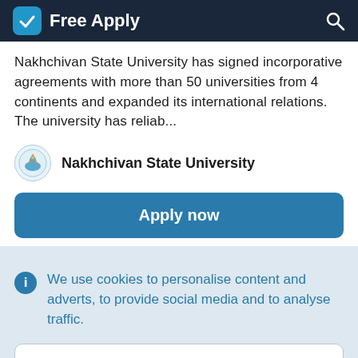Free Apply
Nakhchivan State University has signed incorporative agreements with more than 50 universities from 4 continents and expanded its international relations. The university has reliab...
Nakhchivan State University
Apply now
We use cookies to personalise content and adverts, to provide social media and to analyse traffic.
Learn more
Accept